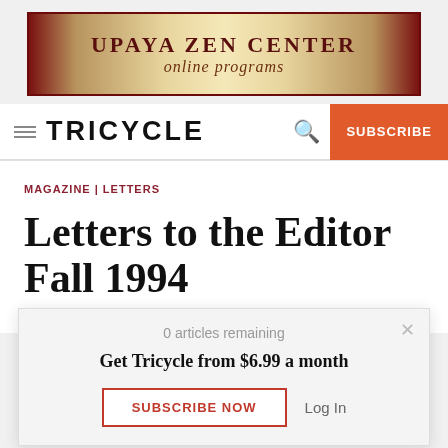[Figure (illustration): Upaya Zen Center online programs advertisement banner with ornate gold/red design]
TRICYCLE  SUBSCRIBE
MAGAZINE | LETTERS
Letters to the Editor Fall 1994
By Tricycle
0 articles remaining
Get Tricycle from $6.99 a month
SUBSCRIBE NOW  Log In